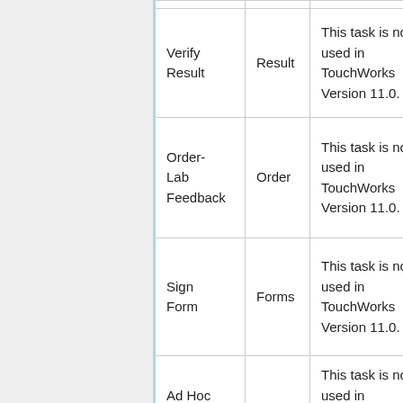| Verify Result | Result | This task is not used in TouchWorks Version 11.0. | Ack… Re… |
| Order-Lab Feedback | Order | This task is not used in TouchWorks Version 11.0. |  |
| Sign Form | Forms | This task is not used in TouchWorks Version 11.0. | Sig… |
| Ad Hoc Result |  | This task is not used in TouchWorks Version 11.0. |  |